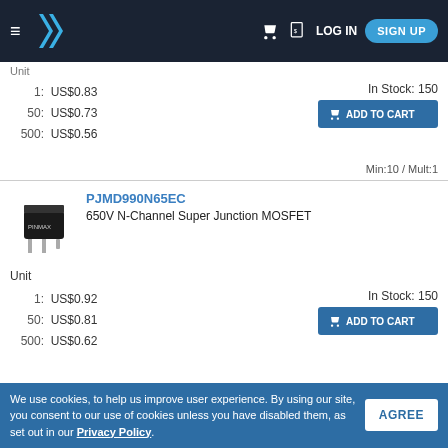Navigation header with logo, cart, quote, LOG IN, SIGN UP
Unit
| Qty | Price |
| --- | --- |
| 1: | US$0.83 |
| 50: | US$0.73 |
| 500: | US$0.56 |
In Stock: 150
ADD TO CART
Min:10 / Mult:1
[Figure (photo): Black TO-263 package MOSFET component photo]
PJMD990N65EC
650V N-Channel Super Junction MOSFET
Unit
| Qty | Price |
| --- | --- |
| 1: | US$0.92 |
| 50: | US$0.81 |
| 500: | US$0.62 |
In Stock: 150
ADD TO CART
We use cookies, to help us improve user experience. By using our site, you consent to our use of cookies unless you have disabled them, as set out in our Privacy Policy.
AGREE